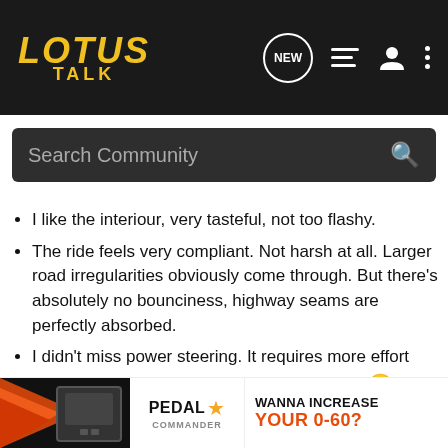Lotus Talk — navigation bar with logo, NEW, list, user, and menu icons
Search Community
I like the interiour, very tasteful, not too flashy.
The ride feels very compliant. Not harsh at all. Larger road irregularities obviously come through. But there's absolutely no bounciness, highway seams are perfectly absorbed.
I didn't miss power steering. It requires more effort than other cars, but it's a good kind of effort. 🙂
Getting in and out isn't that hard, at least with the top off. Getting in is a piece of cake. I'm sure that I didn't look very graceful climbing out the first time, but it was much better on the second attempt already.
Car looks awesome. It does create attention, one car pulled to our side on the highway, and gave thumbs up a…
[Figure (infographic): Pedal Commander advertisement banner showing device, logo with star, and text 'WANNA INCREASE YOUR 0-60?']